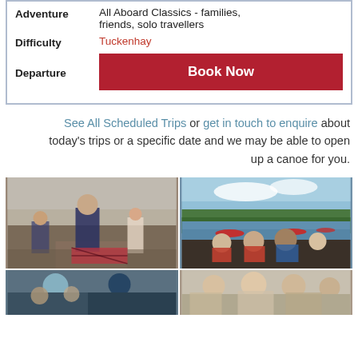| Adventure | All Aboard Classics - families, friends, solo travellers |
| Difficulty | Tuckenhay |
| Departure | Book Now |
See All Scheduled Trips or get in touch to enquire about today's trips or a specific date and we may be able to open up a canoe for you.
[Figure (photo): Children on a rocky/gravelly beach, one boy in blue striped top holding something, other children around]
[Figure (photo): Canoeists on a wide calm estuary or lake, red canoes visible, with a group of people in life jackets in foreground]
[Figure (photo): Close-up of people, appears to be canoeing activity, partially visible at bottom]
[Figure (photo): Group of people including adults, smiling, appearing to be on a canoe trip, partially visible at bottom]